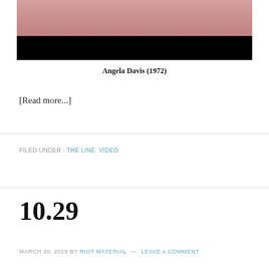[Figure (photo): Photograph of Angela Davis (1972), top portion shows pink/flesh tones, bottom portion is black]
Angela Davis (1972)
[Read more...]
FILED UNDER: THE LINE, VIDEO
10.29
MARCH 20, 2019 BY RIOT MATERIAL — LEAVE A COMMENT